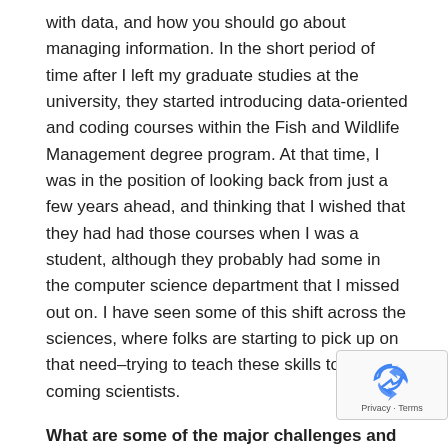with data, and how you should go about managing information. In the short period of time after I left my graduate studies at the university, they started introducing data-oriented and coding courses within the Fish and Wildlife Management degree program. At that time, I was in the position of looking back from just a few years ahead, and thinking that I wished that they had had those courses when I was a student, although they probably had some in the computer science department that I missed out on. I have seen some of this shift across the sciences, where folks are starting to pick up on that need–trying to teach these skills to up and coming scientists.
What are some of the major challenges and issues facing Earth Science data / informatics today?
In the short time that I have been involved in the field, I have been exposed to the rapid amount of information that is coming in. Even within agencies there is so much